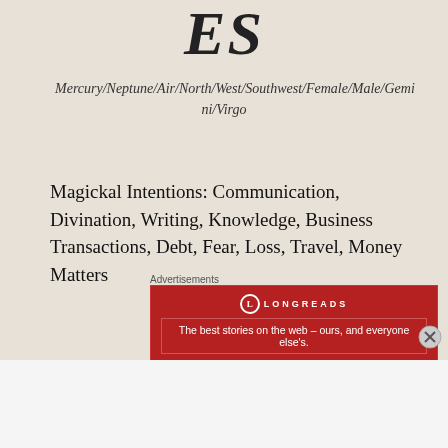ES
Mercury/Neptune/Air/North/West/Southwest/Female/Male/Gemini/Virgo
Magickal Intentions: Communication, Divination, Writing, Knowledge, Business Transactions, Debt, Fear, Loss, Travel, Money Matters
Advertisements
[Figure (other): Longreads advertisement banner: red background with Longreads logo and text 'The best stories on the web – ours, and everyone else's.']
Advertisements
[Figure (other): Bloomingdale's advertisement: logo text 'bloomingdales', tagline 'View Today's Top Deals!', image of woman with hat, and 'SHOP NOW >' button]